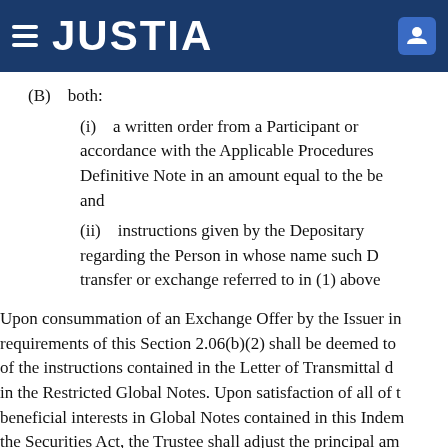JUSTIA
(B)    both:
(i)    a written order from a Participant or accordance with the Applicable Procedures Definitive Note in an amount equal to the be and
(ii)    instructions given by the Depositary regarding the Person in whose name such D transfer or exchange referred to in (1) above
Upon consummation of an Exchange Offer by the Issuer in requirements of this Section 2.06(b)(2) shall be deemed to of the instructions contained in the Letter of Transmittal d in the Restricted Global Notes. Upon satisfaction of all of t beneficial interests in Global Notes contained in this Indem the Securities Act, the Trustee shall adjust the principal am Section 2.06(h) hereof.